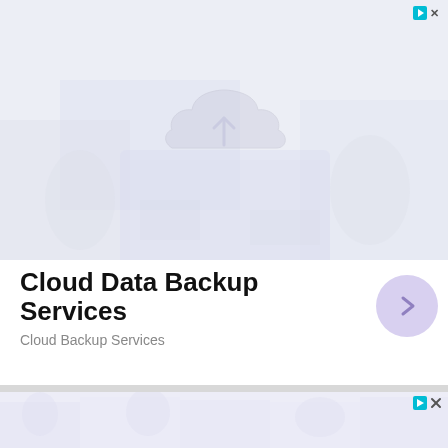[Figure (illustration): Faded background image showing a laptop with a cloud upload icon overlay, bluish-gray tones, very light/washed out]
Cloud Data Backup Services
Cloud Backup Services
[Figure (illustration): Second advertisement card with faded background image, bluish-lavender tones, bottom of page]